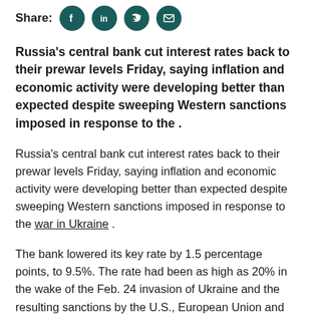Share: [social icons: Facebook, LinkedIn, Twitter, Email]
Russia's central bank cut interest rates back to their prewar levels Friday, saying inflation and economic activity were developing better than expected despite sweeping Western sanctions imposed in response to the .
Russia's central bank cut interest rates back to their prewar levels Friday, saying inflation and economic activity were developing better than expected despite sweeping Western sanctions imposed in response to the war in Ukraine .
The bank lowered its key rate by 1.5 percentage points, to 9.5%. The rate had been as high as 20% in the wake of the Feb. 24 invasion of Ukraine and the resulting sanctions by the U.S., European Union and other nations that restrict dealings with Russian banks, individuals and companies .
Economists say that over time the sanctions will corrode